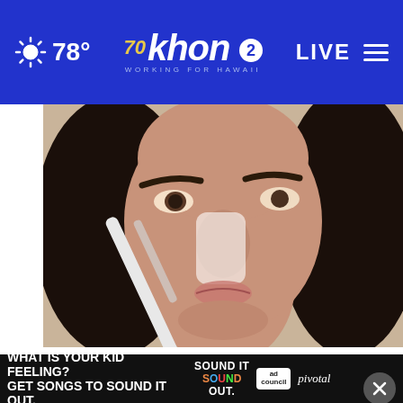78° khon2 WORKING FOR HAWAII LIVE
[Figure (photo): Close-up of a woman with dark hair applying something to her nose with a small tool/applicator]
Removing Moles & Skin Tags Has Never Been This Easy
[Figure (infographic): Ad banner: WHAT IS YOUR KID FEELING? GET SONGS TO SOUND IT OUT. Sound It Out / ad council / pivotal]